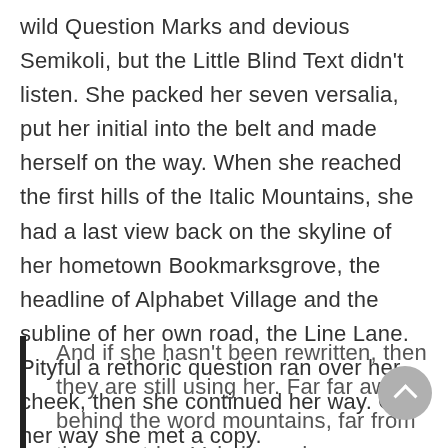wild Question Marks and devious Semikoli, but the Little Blind Text didn't listen. She packed her seven versalia, put her initial into the belt and made herself on the way. When she reached the first hills of the Italic Mountains, she had a last view back on the skyline of her hometown Bookmarksgrove, the headline of Alphabet Village and the subline of her own road, the Line Lane. Pityful a rethoric question ran over her cheek, then she continued her way. On her way she met a copy.
And if she hasn't been rewritten, then they are still using her. Far far away, behind the word mountains, far from the countries Vokalia and Consonantia, there live the blind texts. Separated they live in Bookmarksgrove right at the coast of